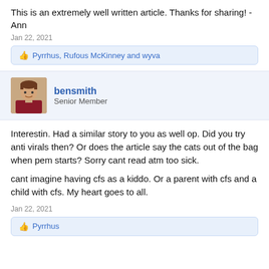This is an extremely well written article. Thanks for sharing! - Ann
Jan 22, 2021
Pyrrhus, Rufous McKinney and wyva
bensmith
Senior Member
Interestin. Had a similar story to you as well op. Did you try anti virals then? Or does the article say the cats out of the bag when pem starts? Sorry cant read atm too sick.
cant imagine having cfs as a kiddo. Or a parent with cfs and a child with cfs. My heart goes to all.
Jan 22, 2021
Pyrrhus